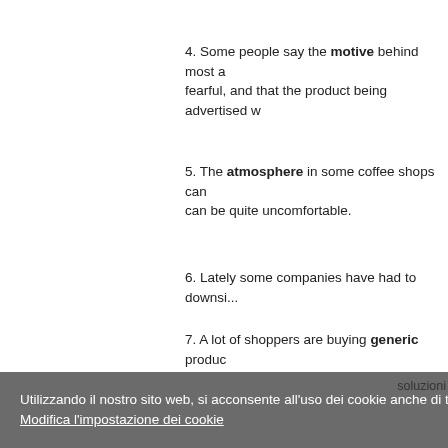4. Some people say the motive behind most a... fearful, and that the product being advertised w...
5. The atmosphere in some coffee shops can ... can be quite uncomfortable.
6. Lately some companies have had to downsi...
7. A lot of shoppers are buying generic produc... than brand name products.
8. John lost his expensive leather wallet and a...
9. After losing all of his ID, John was in a bad m...
10. John also found out that a diamond ring he...
Utilizzando il nostro sito web, si acconsente all'uso dei cookie anche di terze parti. Modifica l'impostazione dei cookie
soluzioni